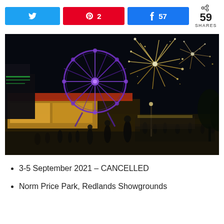[Figure (infographic): Social sharing bar with Twitter button (blue), Pinterest button (red) with count 2, Facebook button (blue) with count 57, and share count showing 59 SHARES]
[Figure (photo): Night photo of a fairground showing a purple-lit Ferris wheel, fireworks bursting in the sky, carnival game stalls, and crowds of people walking on a grass field.]
3-5 September 2021 – CANCELLED
Norm Price Park, Redlands Showgrounds